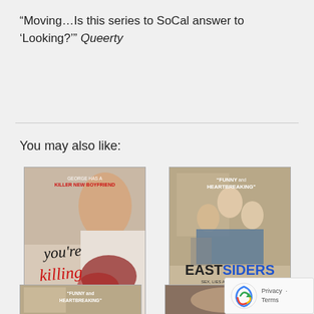“Moving…Is this series to SoCal answer to ‘Looking?’” Queerty
You may also like:
[Figure (photo): Movie cover for You're Killing Me showing a man with blood on shirt, text 'you're killing me' in script font, tagline 'George has a killer new boyfriend']
You're Killing Me
Your Price: $12.95
[Figure (photo): Movie cover for Eastsiders: The Movie (Season 1) showing three men, text 'EASTSIDERS SEX, LIES AND SILVER LAKE', quote 'FUNNY and HEARTBREAKING']
Eastsiders: The Movie (Season 1)
Your Price: $14.9...
[Figure (photo): Partial thumbnail of Eastsiders DVD at bottom left]
[Figure (photo): Partial thumbnail of another movie at bottom right]